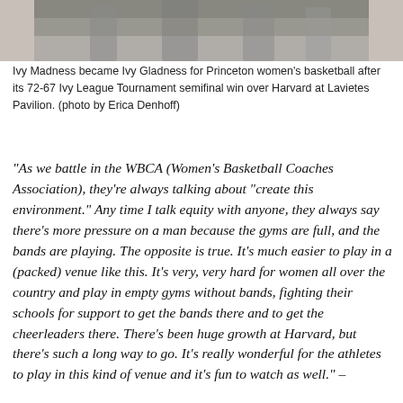[Figure (photo): Partial photo of Princeton women's basketball players/team, cropped at top of page showing lower portion of figures in a gymnasium setting]
Ivy Madness became Ivy Gladness for Princeton women's basketball after its 72-67 Ivy League Tournament semifinal win over Harvard at Lavietes Pavilion. (photo by Erica Denhoff)
“As we battle in the WBCA (Women’s Basketball Coaches Association), they’re always talking about “create this environment.”  Any time I talk equity with anyone, they always say there’s more pressure on a man because the gyms are full, and the bands are playing.  The opposite is true.  It’s much easier to play in a (packed) venue like this.  It’s very, very hard for women all over the country and play in empty gyms without bands, fighting their schools for support to get the bands there and to get the cheerleaders there.  There’s been huge growth at Harvard, but there’s such a long way to go.  It’s really wonderful for the athletes to play in this kind of venue and it’s fun to watch as well.” –